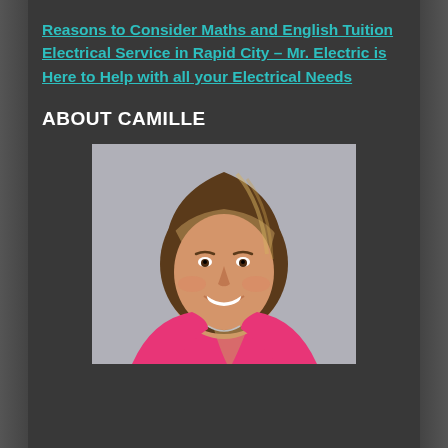Reasons to Consider Maths and English Tuition Electrical Service in Rapid City – Mr. Electric is Here to Help with all your Electrical Needs
ABOUT CAMILLE
[Figure (photo): Portrait photo of a young woman with long brown and blonde highlighted hair, smiling, wearing a pink top, against a gray background.]